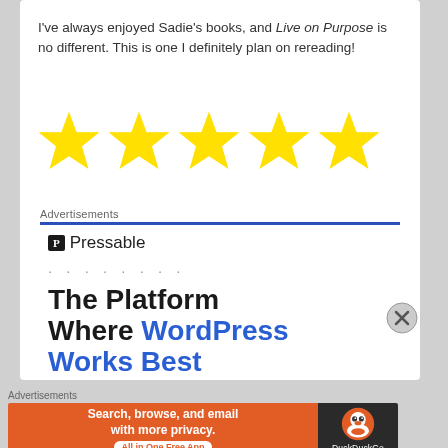I've always enjoyed Sadie's books, and Live on Purpose is no different. This is one I definitely plan on rereading!
[Figure (illustration): Five large yellow star icons in a row representing a 5-star rating]
Advertisements
[Figure (screenshot): Pressable advertisement showing logo with 'P' box icon and 'Pressable' name, dots, and headline 'The Platform Where WordPress Works Best']
Advertisements
[Figure (screenshot): DuckDuckGo advertisement: orange left panel 'Search, browse, and email with more privacy. All in One Free App' and dark right panel with DuckDuckGo duck logo and brand name]